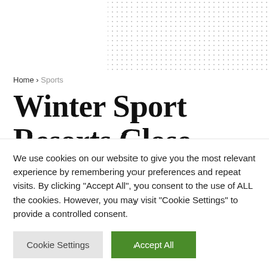Home > Sports
Winter Sport Resorts Close Their Runs Due To
We use cookies on our website to give you the most relevant experience by remembering your preferences and repeat visits. By clicking “Accept All”, you consent to the use of ALL the cookies. However, you may visit "Cookie Settings" to provide a controlled consent.
Cookie Settings | Accept All